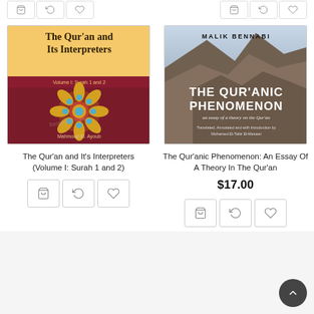[Figure (screenshot): Top icon bar with shopping cart, refresh, and heart icons for two products]
[Figure (illustration): Book cover: The Qur'an and Its Interpreters, Volume I: Surah 1 and 2, by Mahmoud M. Ayoub. Dark maroon cover with golden geometric floral mandala design and yellow header band.]
The Qur'an and It's Interpreters (Volume I: Surah 1 and 2)
[Figure (illustration): Book cover: The Qur'anic Phenomenon: An Essay of a Theory on the Qur'an, by Malik Bennabi. Mountain/rock landscape cover with large white title text.]
The Qur'anic Phenomenon: An Essay Of A Theory In The Qur'an
$17.00